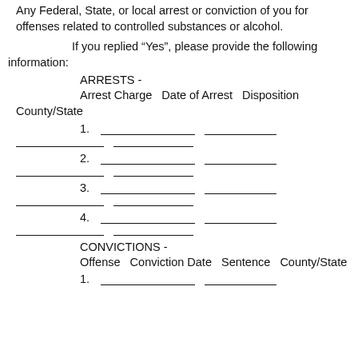Any Federal, State, or local arrest or conviction of you for offenses related to controlled substances or alcohol.
If you replied “Yes”, please provide the following information:
ARRESTS -
Arrest Charge Date of Arrest Disposition County/State
1. ___________________ ______________ _______________ ___________________
2. ___________________ ______________ _______________ ___________________
3. ___________________ ______________ _______________ ___________________
4. ___________________ ______________ _______________ ___________________
CONVICTIONS -
Offense Conviction Date Sentence County/State
1. ___________________ ______________